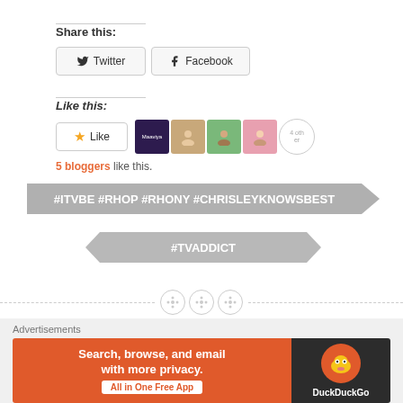Share this:
[Figure (screenshot): Twitter share button]
[Figure (screenshot): Facebook share button]
Like this:
[Figure (screenshot): Like button with star and 5 blogger avatars]
5 bloggers like this.
[Figure (infographic): Grey tag banner with hashtags: #ITVBE #RHOP #RHONY #CHRISLEYKNOWSBEST]
[Figure (infographic): Grey tag banner with hashtag: #TVADDICT]
[Figure (other): Decorative dashed separator with three dot circle icons]
Advertisements
[Figure (screenshot): DuckDuckGo advertisement banner: Search, browse, and email with more privacy. All in One Free App]